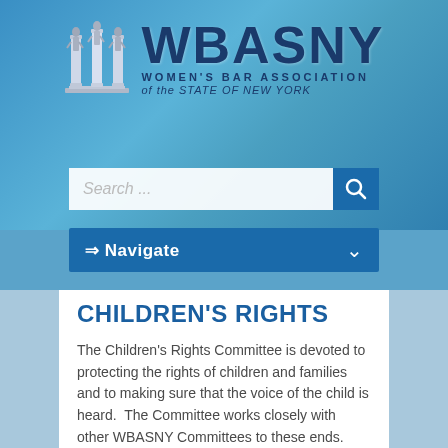[Figure (logo): WBASNY Women's Bar Association of the State of New York logo with classical column figures]
Search ...
⇒ Navigate
CHILDREN'S RIGHTS
The Children's Rights Committee is devoted to protecting the rights of children and families and to making sure that the voice of the child is heard. The Committee works closely with other WBASNY Committees to these ends.
The Committee reviews bills introduced in the Legislature referred by the Legislation Committee, to make sure that the interests of children are safeguarded, and to ensure that